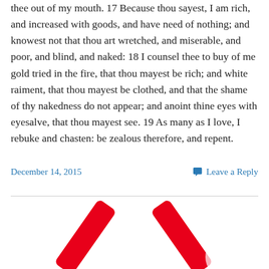thee out of my mouth. 17 Because thou sayest, I am rich, and increased with goods, and have need of nothing; and knowest not that thou art wretched, and miserable, and poor, and blind, and naked: 18 I counsel thee to buy of me gold tried in the fire, that thou mayest be rich; and white raiment, that thou mayest be clothed, and that the shame of thy nakedness do not appear; and anoint thine eyes with eyesalve, that thou mayest see. 19 As many as I love, I rebuke and chasten: be zealous therefore, and repent.
December 14, 2015
Leave a Reply
[Figure (photo): Bottom portion of an image showing two red diagonal objects (possibly lightsabers or similar) against a white background, partially cut off at the bottom of the page.]